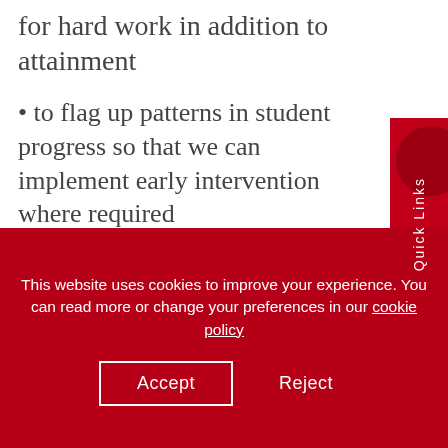for hard work in addition to attainment
to flag up patterns in student progress so that we can implement early intervention where required
Attitude and Effort
This website uses cookies to improve your experience. You can read more or change your preferences in our cookie policy
Accept
Reject